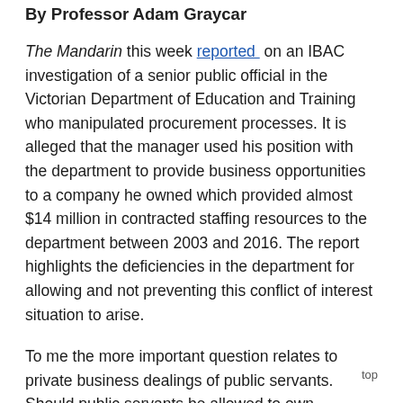By Professor Adam Graycar
The Mandarin this week reported on an IBAC investigation of a senior public official in the Victorian Department of Education and Training who manipulated procurement processes. It is alleged that the manager used his position with the department to provide business opportunities to a company he owned which provided almost $14 million in contracted staffing resources to the department between 2003 and 2016. The report highlights the deficiencies in the department for allowing and not preventing this conflict of interest situation to arise.
To me the more important question relates to private business dealings of public servants. Should public servants be allowed to own businesses? This is not the first time that officials have been involved in “s dealing”, that is steering business to companies th they own, or are owned by family members. The